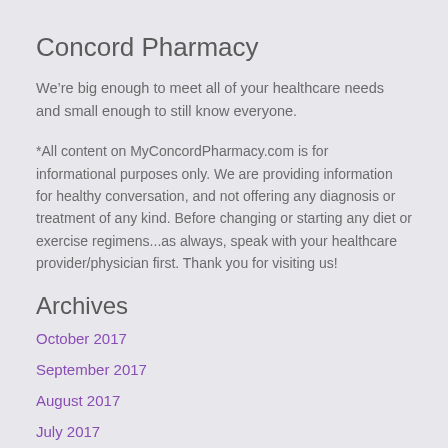Concord Pharmacy
We're big enough to meet all of your healthcare needs and small enough to still know everyone.
*All content on MyConcordPharmacy.com is for informational purposes only. We are providing information for healthy conversation, and not offering any diagnosis or treatment of any kind. Before changing or starting any diet or exercise regimens...as always, speak with your healthcare provider/physician first. Thank you for visiting us!
Archives
October 2017
September 2017
August 2017
July 2017
June 2017
May 2017